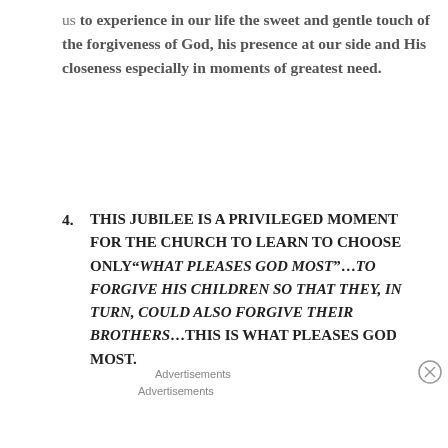us to experience in our life the sweet and gentle touch of the forgiveness of God, his presence at our side and His closeness especially in moments of greatest need.
4. THIS JUBILEE IS A PRIVILEGED MOMENT FOR THE CHURCH TO LEARN TO CHOOSE ONLY“WHAT PLEASES GOD MOST”…TO FORGIVE HIS CHILDREN SO THAT THEY, IN TURN, COULD ALSO FORGIVE THEIR BROTHERS…THIS IS WHAT PLEASES GOD MOST.
Advertisements
Advertisements
[Figure (photo): Victoria's Secret advertisement banner with model and 'SHOP THE COLLECTION / SHOP NOW' text]